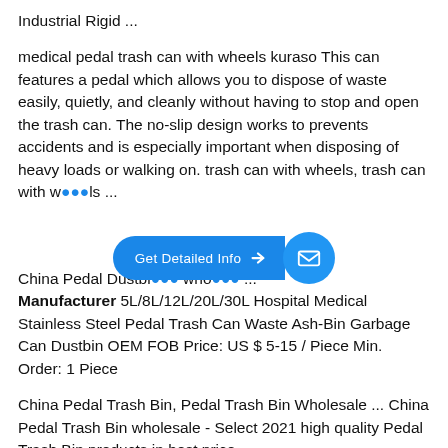Industrial Rigid ...
medical pedal trash can with wheels kuraso This can features a pedal which allows you to dispose of waste easily, quietly, and cleanly without having to stop and open the trash can. The no-slip design works to prevents accidents and is especially important when disposing of heavy loads or walking on. trash can with wheels, trash can with wheels ...
[Figure (infographic): Blue 'Get Detailed Info' button with arrow and mail icon overlay]
China Pedal Dustbi... who... ...
Manufacturer 5L/8L/12L/20L/30L Hospital Medical Stainless Steel Pedal Trash Can Waste Ash-Bin Garbage Can Dustbin OEM FOB Price: US $ 5-15 / Piece Min. Order: 1 Piece
China Pedal Trash Bin, Pedal Trash Bin Wholesale ... China Pedal Trash Bin wholesale - Select 2021 high quality Pedal Trash Bin products in best price ...